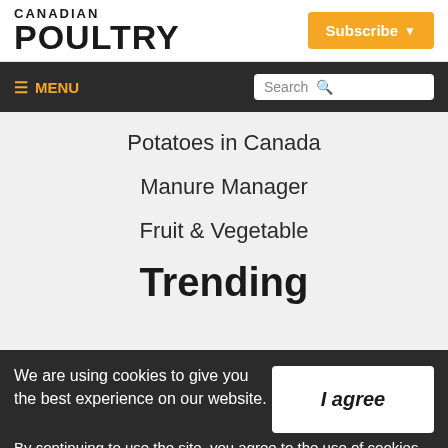CANADIAN POULTRY
Subscribe
≡ MENU | Search
Potatoes in Canada
Manure Manager
Fruit & Vegetable
Trending
We are using cookies to give you the best experience on our website.
By continuing to use the site, you agree to the use of cookies. To find out more, read our privacy policy.
I agree